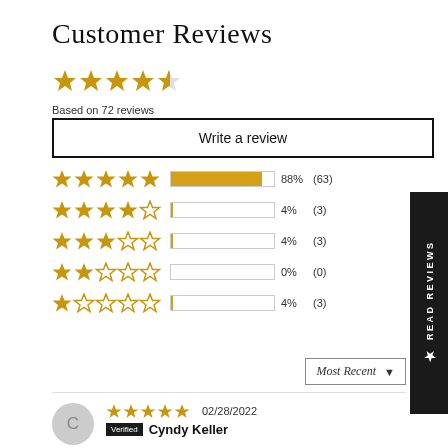Customer Reviews
4.5 stars (star rating graphic)
Based on 72 reviews
Write a review
| Stars | Percentage | Count |
| --- | --- | --- |
| 5 stars | 88% | (63) |
| 4 stars | 4% | (3) |
| 3 stars | 4% | (3) |
| 2 stars | 0% | (0) |
| 1 star | 4% | (3) |
Most Recent ▼
02/28/2022
Verified  Cyndy Keller